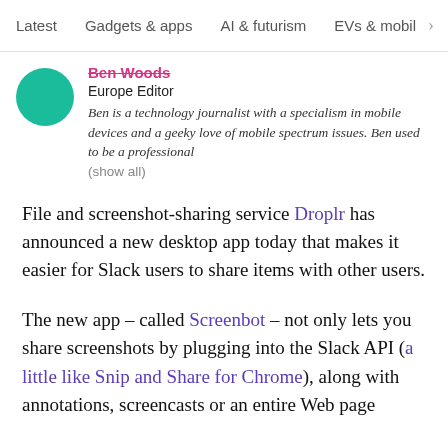Latest   Gadgets & apps   AI & futurism   EVs & mobil >
Ben Woods
Europe Editor
Ben is a technology journalist with a specialism in mobile devices and a geeky love of mobile spectrum issues. Ben used to be a professional
(show all)
File and screenshot-sharing service Droplr has announced a new desktop app today that makes it easier for Slack users to share items with other users.
The new app – called Screenbot – not only lets you share screenshots by plugging into the Slack API (a little like Snip and Share for Chrome), along with annotations, screencasts or an entire Web page